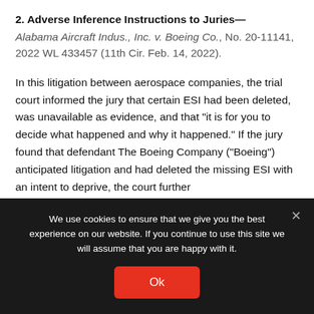2. Adverse Inference Instructions to Juries—
Alabama Aircraft Indus., Inc. v. Boeing Co., No. 20-11141, 2022 WL 433457 (11th Cir. Feb. 14, 2022).
In this litigation between aerospace companies, the trial court informed the jury that certain ESI had been deleted, was unavailable as evidence, and that "it is for you to decide what happened and why it happened." If the jury found that defendant The Boeing Company ("Boeing") anticipated litigation and had deleted the missing ESI with an intent to deprive, the court further
We use cookies to ensure that we give you the best experience on our website. If you continue to use this site we will assume that you are happy with it.